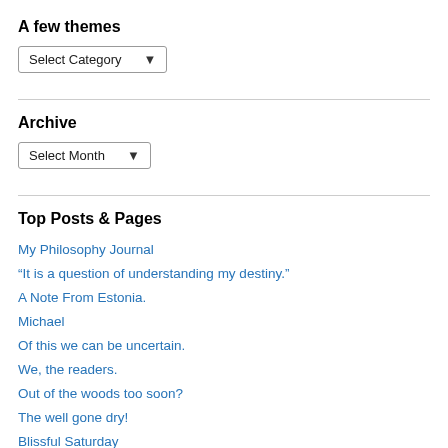A few themes
[Figure (screenshot): Dropdown selector labeled 'Select Category' with a downward arrow]
Archive
[Figure (screenshot): Dropdown selector labeled 'Select Month' with a downward arrow]
Top Posts & Pages
My Philosophy Journal
“It is a question of understanding my destiny.”
A Note From Estonia.
Michael
Of this we can be uncertain.
We, the readers.
Out of the woods too soon?
The well gone dry!
Blissful Saturday